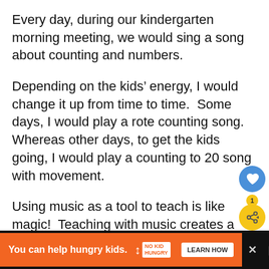Every day, during our kindergarten morning meeting, we would sing a song about counting and numbers.
Depending on the kids’ energy, I would change it up from time to time.  Some days, I would play a rote counting song.  Whereas other days, to get the kids going, I would play a counting to 20 song with movement.
Using music as a tool to teach is like magic!  Teaching with music creates a learning environment that inspires and motivates the kids.  In fact, music is a key component to br... based learning.
[Figure (infographic): Social interaction buttons: a blue circle heart/like button, a yellow bell/pear-shaped notification badge showing '1', and a yellow circle share button with share icon]
[Figure (infographic): Advertisement banner: orange bar reading 'You can help hungry kids.' with No Kid Hungry fork logo and 'LEARN HOW' button on dark background with close X and WW logo]